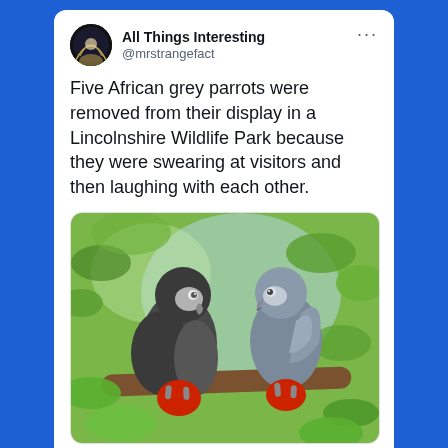All Things Interesting @mrstrangefact
Five African grey parrots were removed from their display in a Lincolnshire Wildlife Park because they were swearing at visitors and then laughing with each other.
[Figure (photo): Two African grey parrots with red tails perched on a tree branch, facing each other, with green foliage background]
8:17 AM · 6/12/21 · SocialOomph